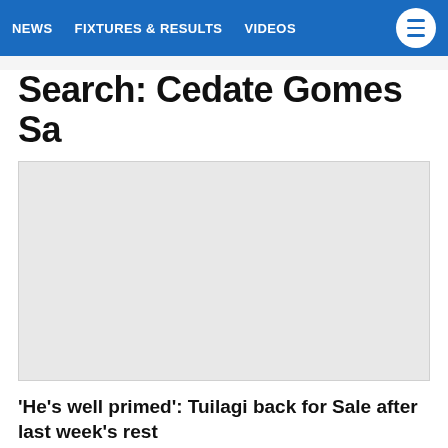NEWS   FIXTURES & RESULTS   VIDEOS
Search: Cedate Gomes Sa
[Figure (other): Advertisement or image placeholder — large light grey rectangle]
'He's well primed': Tuilagi back for Sale after last week's rest
Manu Tuilagi has been recalled to the Sale XV for their